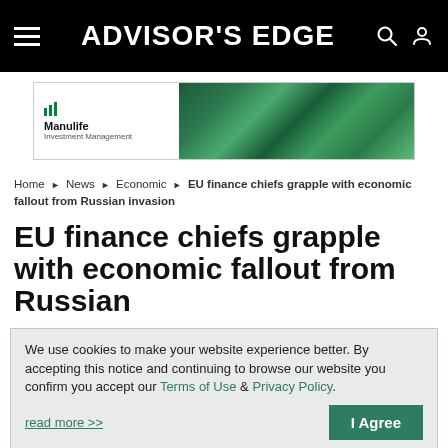ADVISOR'S EDGE
[Figure (logo): Manulife Investment Management advertisement banner with green geometric leaf pattern]
Home ▶ News ▶ Economic ▶ EU finance chiefs grapple with economic fallout from Russian invasion
EU finance chiefs grapple with economic fallout from Russian
We use cookies to make your website experience better. By accepting this notice and continuing to browse our website you confirm you accept our Terms of Use & Privacy Policy.

read more >>

I Agree
By: The Associated Press | February 25, 2022 | 14:38